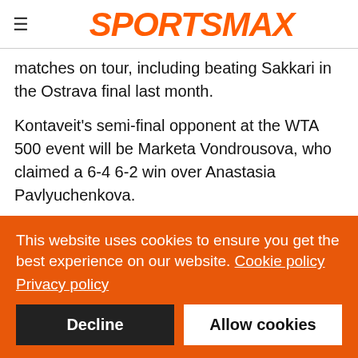SPORTSMAX
matches on tour, including beating Sakkari in the Ostrava final last month.
Kontaveit's semi-final opponent at the WTA 500 event will be Marketa Vondrousova, who claimed a 6-4 6-2 win over Anastasia Pavlyuchenkova.
At the Tenerife Open, Italian Camila Giorgi is the only seeded survivor in the semi-finals. The Italian fourth seed saw off Arantxa Rus 6-1 6-1, with Frenchwoman Alize Cornet and
This website uses cookies to ensure you get the best experience on our website. Cookie policy
Privacy policy
Decline
Allow cookies